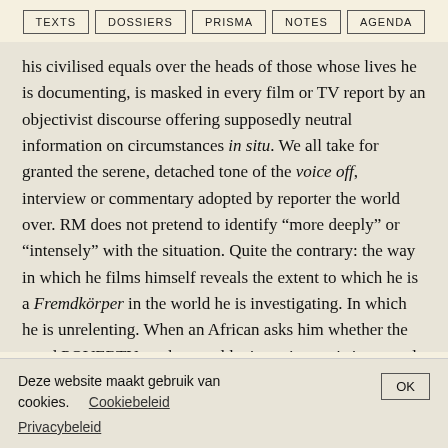TEXTS | DOSSIERS | PRISMA | NOTES | AGENDA
his civilised equals over the heads of those whose lives he is documenting, is masked in every film or TV report by an objectivist discourse offering supposedly neutral information on circumstances in situ. We all take for granted the serene, detached tone of the voice off, interview or commentary adopted by reporter the world over. RM does not pretend to identify “more deeply” or “intensely” with the situation. Quite the contrary: the way in which he films himself reveals the extent to which he is a Fremdkörper in the world he is investigating. In which he is unrelenting. When an African asks him whether the word POVERTY on the panel he is setting up is incorrectly spelled, RM casually explains that this panel is intended for an international audience which overwhelmingly opts for English: “le film sera montré en Europe, pas ici!” Images
Deze website maakt gebruik van cookies.
Cookiebeleid
Privacybeleid